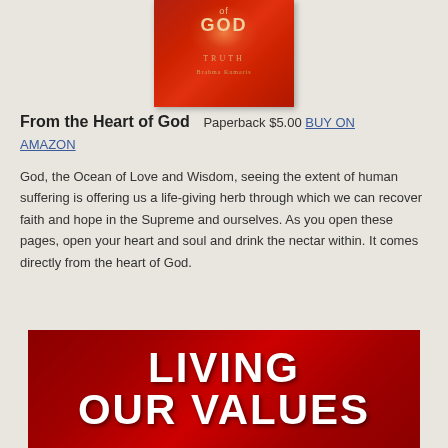[Figure (photo): Book cover of 'From the Heart of God' with red circular design, word GOD and TRUTH visible, author name Brahma Kumaris]
From the Heart of God   Paperback $5.00 BUY ON AMAZON
God, the Ocean of Love and Wisdom, seeing the extent of human suffering is offering us a life-giving herb through which we can recover faith and hope in the Supreme and ourselves. As you open these pages, open your heart and soul and drink the nectar within. It comes directly from the heart of God.
[Figure (photo): Book cover with dark red background showing title 'LIVING OUR VALUES' in large white bold text]